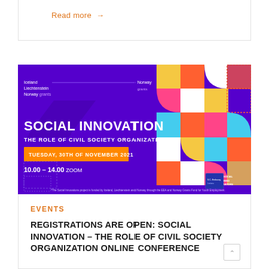Read more →
[Figure (illustration): Social Innovation conference banner with purple background. Text reads: Iceland Liechtenstein Norway grants / Norway grants / SOCIAL INNOVATION / THE ROLE OF CIVIL SOCIETY ORGANIZATION / TUESDAY, 30TH OF NOVEMBER 2021 / 10.00 – 14.00 ZOOM / Social Innovators logo. Colorful geometric mosaic shapes on the right side.]
EVENTS
REGISTRATIONS ARE OPEN: SOCIAL INNOVATION – THE ROLE OF CIVIL SOCIETY ORGANIZATION ONLINE CONFERENCE